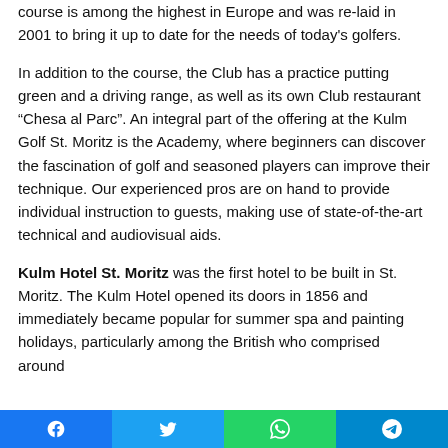course is among the highest in Europe and was re-laid in 2001 to bring it up to date for the needs of today's golfers.
In addition to the course, the Club has a practice putting green and a driving range, as well as its own Club restaurant “Chesa al Parc”. An integral part of the offering at the Kulm Golf St. Moritz is the Academy, where beginners can discover the fascination of golf and seasoned players can improve their technique. Our experienced pros are on hand to provide individual instruction to guests, making use of state-of-the-art technical and audiovisual aids.
Kulm Hotel St. Moritz was the first hotel to be built in St. Moritz. The Kulm Hotel opened its doors in 1856 and immediately became popular for summer spa and painting holidays, particularly among the British who comprised around
Facebook | Twitter | WhatsApp | Telegram